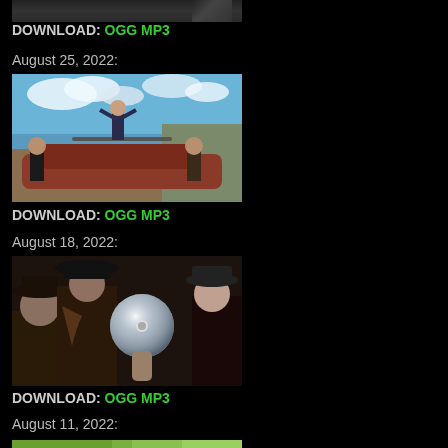DOWNLOAD:  OGG  MP3
August 25, 2022:
[Figure (photo): Three band members standing around a vintage car outdoors under a blue sky with clouds]
DOWNLOAD:  OGG  MP3
August 18, 2022:
[Figure (photo): Group of people wearing dark hats indoors, one holding a shiny CD disc toward camera]
DOWNLOAD:  OGG  MP3
August 11, 2022:
[Figure (photo): People in front of a green background, partially visible at bottom of page]